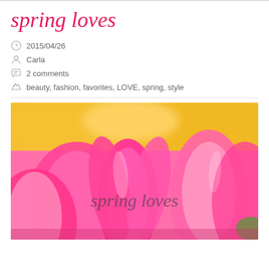spring loves
2015/04/26
Carla
2 comments
beauty, fashion, favorites, LOVE, spring, style
[Figure (photo): Close-up photo of pink tulips in bloom with yellow flowers blurred in background. Text 'spring loves' overlaid in cursive script on the photo.]